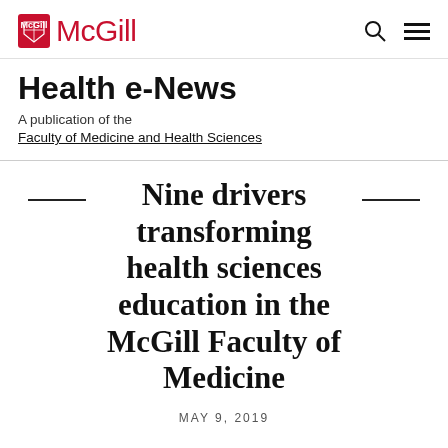McGill — Health e-News
A publication of the Faculty of Medicine and Health Sciences
Nine drivers transforming health sciences education in the McGill Faculty of Medicine
MAY 9, 2019